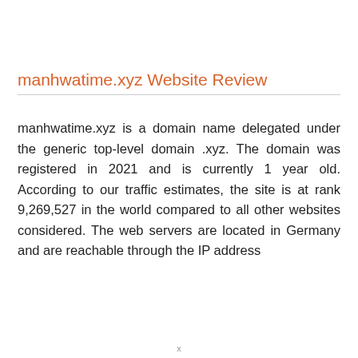manhwatime.xyz Website Review
manhwatime.xyz is a domain name delegated under the generic top-level domain .xyz. The domain was registered in 2021 and is currently 1 year old. According to our traffic estimates, the site is at rank 9,269,527 in the world compared to all other websites considered. The web servers are located in Germany and are reachable through the IP address
x